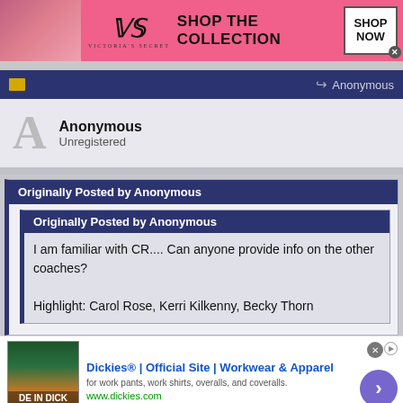[Figure (other): Victoria's Secret advertisement banner with model photo, VS logo, 'SHOP THE COLLECTION' text, and 'SHOP NOW' button]
[Figure (screenshot): Navigation bar with dark navy background, small icon on left, arrow and 'Anonymous' text on right]
Anonymous
Unregistered
Originally Posted by Anonymous
Originally Posted by Anonymous
I am familiar with CR.... Can anyone provide info on the other coaches?
Highlight: Carol Rose, Kerri Kilkenny, Becky Thorn
[Figure (other): Dickies advertisement banner with book cover image, 'Dickies® | Official Site | Workwear & Apparel', URL www.dickies.com, and arrow button]